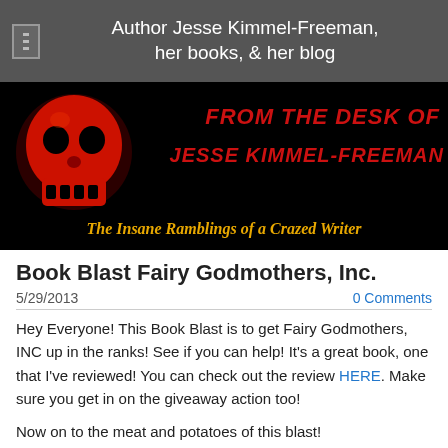Author Jesse Kimmel-Freeman, her books, & her blog
[Figure (illustration): Blog banner with red skull on black background. Text reads 'FROM THE DESK OF JESSE KIMMEL-FREEMAN' in red stylized font and 'The Insane Ramblings of a Crazed Writer' in gold italic font.]
Book Blast Fairy Godmothers, Inc.
5/29/2013
0 Comments
Hey Everyone! This Book Blast is to get Fairy Godmothers, INC up in the ranks! See if you can help! It's a great book, one that I've reviewed! You can check out the review HERE. Make sure you get in on the giveaway action too!
Now on to the meat and potatoes of this blast!